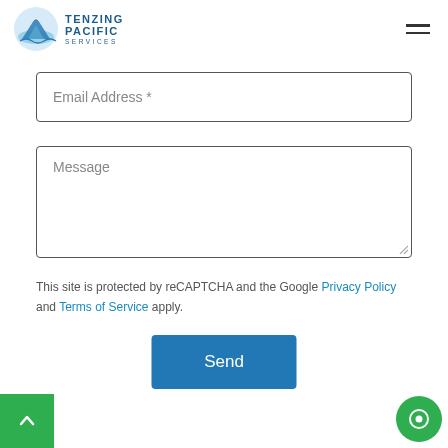[Figure (logo): Tenzing Pacific Services logo with mountain/wave graphic in blue circle and text TENZING PACIFIC SERVICES]
[Figure (other): Hamburger menu icon (three horizontal lines)]
Email Address *
Message
This site is protected by reCAPTCHA and the Google Privacy Policy and Terms of Service apply.
[Figure (other): Send button - blue rectangle with white text 'Send']
[Figure (other): Scroll to top button - green square with white upward arrow]
[Figure (other): Chat button - green circle with white chat bubble icon]